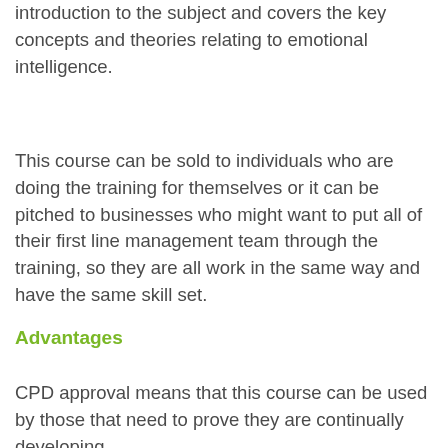introduction to the subject and covers the key concepts and theories relating to emotional intelligence.
This course can be sold to individuals who are doing the training for themselves or it can be pitched to businesses who might want to put all of their first line management team through the training, so they are all work in the same way and have the same skill set.
Advantages
CPD approval means that this course can be used by those that need to prove they are continually developing